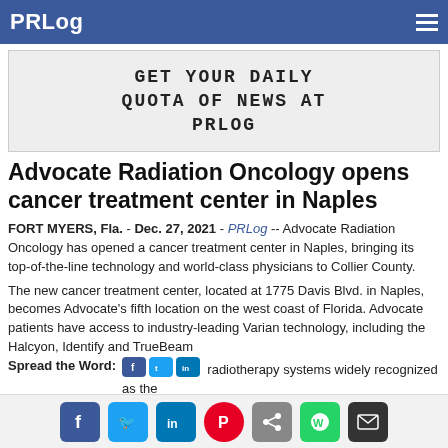PRLog
[Figure (other): Banner ad: GET YOUR DAILY QUOTA OF NEWS AT PRLOG in monospace bold text on light gray background]
Advocate Radiation Oncology opens cancer treatment center in Naples
FORT MYERS, Fla. - Dec. 27, 2021 - PRLog -- Advocate Radiation Oncology has opened a cancer treatment center in Naples, bringing its top-of-the-line technology and world-class physicians to Collier County.
The new cancer treatment center, located at 1775 Davis Blvd. in Naples, becomes Advocate's fifth location on the west coast of Florida. Advocate patients have access to industry-leading Varian technology, including the Halcyon, Identify and TrueBeam radiotherapy systems widely recognized as the most precise cancer-fighting machines on the
Spread the Word: [Facebook] [Twitter] [LinkedIn] [Pinterest] [Share] [WhatsApp] [Email]